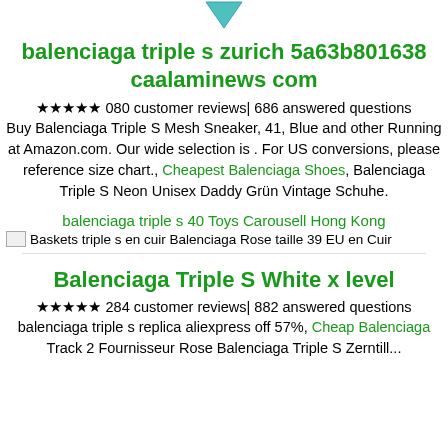[Figure (illustration): Small blue/teal triangular arrow or chevron icon pointing downward at top center of page]
balenciaga triple s zurich 5a63b801638 caalaminews com
★★★★★ 080 customer reviews| 686 answered questions
Buy Balenciaga Triple S Mesh Sneaker, 41, Blue and other Running at Amazon.com. Our wide selection is . For US conversions, please reference size chart., Cheapest Balenciaga Shoes, Balenciaga Triple S Neon Unisex Daddy Grün Vintage Schuhe.
balenciaga triple s 40 Toys Carousell Hong Kong
[Figure (photo): Broken image placeholder for: Baskets triple s en cuir Balenciaga Rose taille 39 EU en Cuir]
Balenciaga Triple S White x level
★★★★★ 284 customer reviews| 882 answered questions
balenciaga triple s replica aliexpress off 57%, Cheap Balenciaga Track 2 Fournisseur Rose Balenciaga Triple S Zerntill...